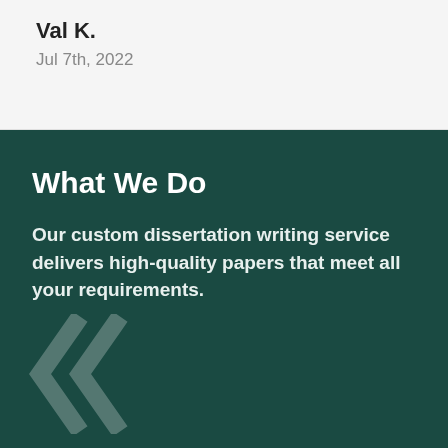Val K.
Jul 7th, 2022
What We Do
Our custom dissertation writing service delivers high-quality papers that meet all your requirements.